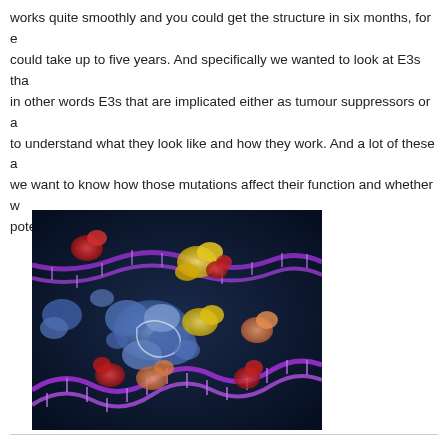works quite smoothly and you could get the structure in six months, for e could take up to five years. And specifically we wanted to look at E3s tha in other words E3s that are implicated either as tumour suppressors or a to understand what they look like and how they work. And a lot of these a we want to know how those mutations affect their function and whether w potential therapeutics.
[Figure (photo): Scientific illustration showing protein complexes (ubiquitin ligase E3 enzymes) depicted as colorful molecular structures (blue, yellow, red, orange/pink) interacting with a purple DNA double helix strand on a dark navy background.]